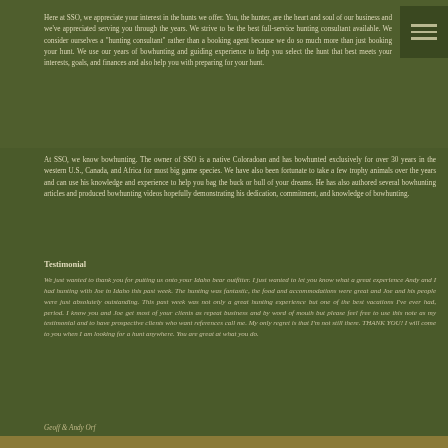Here at SSO, we appreciate your interest in the hunts we offer. You, the hunter, are the heart and soul of our business and we've appreciated serving you through the years. We strive to be the best full-service hunting consultant available. We consider ourselves a "hunting consultant" rather than a booking agent because we do so much more than just booking your hunt. We use our years of bowhunting and guiding experience to help you select the hunt that best meets your interests, goals, and finances and also help you with preparing for your hunt.
At SSO, we know bowhunting. The owner of SSO is a native Coloradoan and has bowhunted exclusively for over 30 years in the western U.S., Canada, and Africa for most big game species. We have also been fortunate to take a few trophy animals over the years and can use his knowledge and experience to help you bag the buck or bull of your dreams. He has also authored several bowhunting articles and produced bowhunting videos hopefully demonstrating his dedication, commitment, and knowledge of bowhunting.
Testimonial
We just wanted to thank you for putting us onto your Idaho bear outfitter. I just wanted to let you know what a great experience Andy and I had hunting with Joe in Idaho this past week. The hunting was fantastic, the food and accommodations were great and Joe and his people were just absolutely outstanding. This past week was not only a great hunting experience but one of the best vacations I've ever had, period. I know you and Joe get most of your clients as repeat business and by word of mouth but please feel free to use this note as my testimonial and to have prospective clients who want references call me. My only regret is that I'm not still there. THANK YOU! I will come to you when I am looking for a hunt anywhere. You are great at what you do.
Geoff & Andy Orf